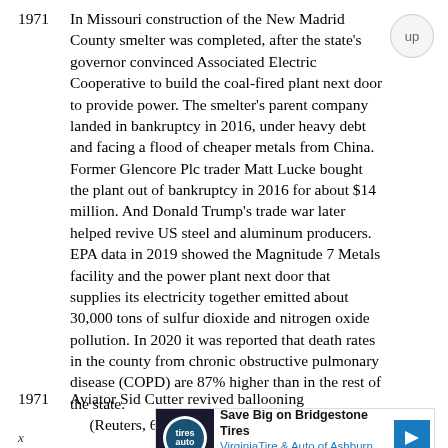1971    In Missouri construction of the New Madrid County smelter was completed, after the state's governor convinced Associated Electric Cooperative to build the coal-fired plant next door to provide power. The smelter's parent company landed in bankruptcy in 2016, under heavy debt and facing a flood of cheaper metals from China. Former Glencore Plc trader Matt Lucke bought the plant out of bankruptcy in 2016 for about $14 million. And Donald Trump's trade war later helped revive US steel and aluminum producers. EPA data in 2019 showed the Magnitude 7 Metals facility and the power plant next door that supplies its electricity together emitted about 30,000 tons of sulfur dioxide and nitrogen oxide pollution. In 2020 it was reported that death rates in the county from chronic obstructive pulmonary disease (COPD) are 87% higher than in the rest of the state.
    (Reuters, 6/2/20)
1971    Aviator Sid Cutter revived ballooning
[Figure (other): Advertisement banner: Save Big on Bridgestone Tires - VirginiaTire & Auto of Ashburn Fa.]